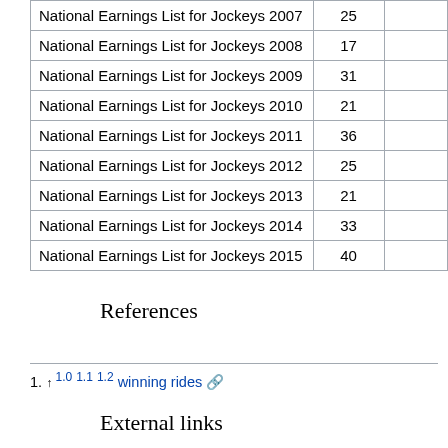| National Earnings List for Jockeys 2007 | 25 |  |
| National Earnings List for Jockeys 2008 | 17 |  |
| National Earnings List for Jockeys 2009 | 31 |  |
| National Earnings List for Jockeys 2010 | 21 |  |
| National Earnings List for Jockeys 2011 | 36 |  |
| National Earnings List for Jockeys 2012 | 25 |  |
| National Earnings List for Jockeys 2013 | 21 |  |
| National Earnings List for Jockeys 2014 | 33 |  |
| National Earnings List for Jockeys 2015 | 40 |  |
References
1. ↑ 1.0 1.1 1.2 winning rides
External links